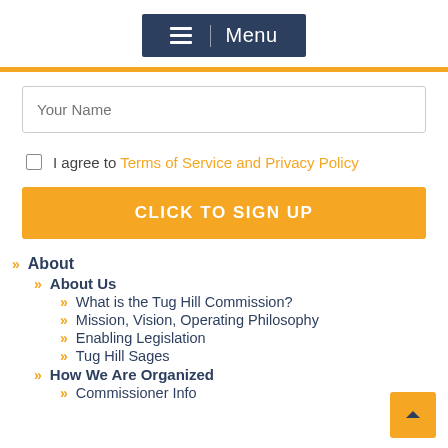Menu
Your Name
I agree to Terms of Service and Privacy Policy
CLICK TO SIGN UP
About
About Us
What is the Tug Hill Commission?
Mission, Vision, Operating Philosophy
Enabling Legislation
Tug Hill Sages
How We Are Organized
Commissioner Info